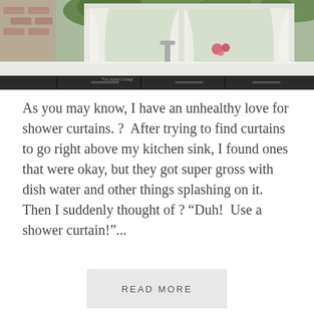[Figure (photo): Kitchen sink with white curtains, window, green plants outside, dark cabinetry, white countertop, flowers on counter]
As you may know, I have an unhealthy love for shower curtains. ?  After trying to find curtains to go right above my kitchen sink, I found ones that were okay, but they got super gross with dish water and other things splashing on it.  Then I suddenly thought of ? “Duh!  Use a shower curtain!”...
READ MORE